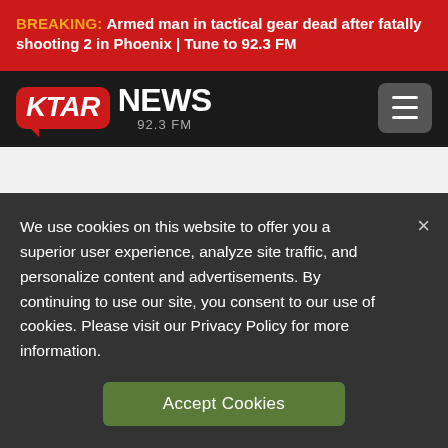BREAKING: Armed man in tactical gear dead after fatally shooting 2 in Phoenix | Tune to 92.3 FM
[Figure (logo): KTAR News 92.3 FM logo with hamburger menu button on dark navbar]
We use cookies on this website to offer you a superior user experience, analyze site traffic, and personalize content and advertisements. By continuing to use our site, you consent to our use of cookies. Please visit our Privacy Policy for more information.
Accept Cookies